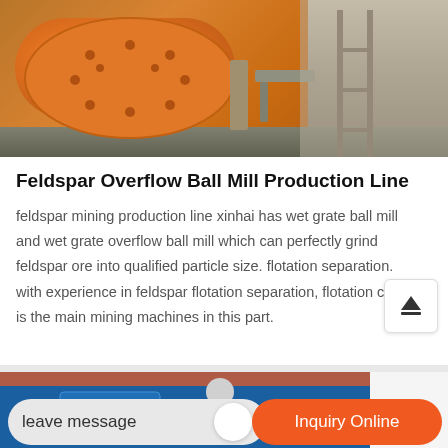[Figure (photo): Orange ball mill industrial equipment in a factory setting]
Feldspar Overflow Ball Mill Production Line
feldspar mining production line xinhai has wet grate ball mill and wet grate overflow ball mill which can perfectly grind feldspar ore into qualified particle size. flotation separation. with experience in feldspar flotation separation, flotation cell is the main mining machines in this part.
[Figure (photo): Blue background with industrial equipment figure, partially visible at bottom of page]